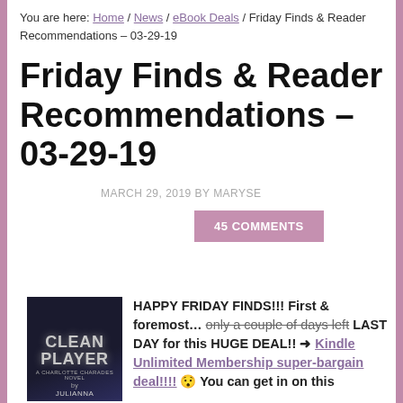You are here: Home / News / eBook Deals / Friday Finds & Reader Recommendations – 03-29-19
Friday Finds & Reader Recommendations – 03-29-19
MARCH 29, 2019 BY MARYSE
45 COMMENTS
[Figure (photo): Book cover for 'Clean Player' by Julianna — dark blue/navy cover with stylized text]
HAPPY FRIDAY FINDS!!! First & foremost… only a couple of days left LAST DAY for this HUGE DEAL!! ➜ Kindle Unlimited Membership super-bargain deal!!!! 😯 You can get in on this